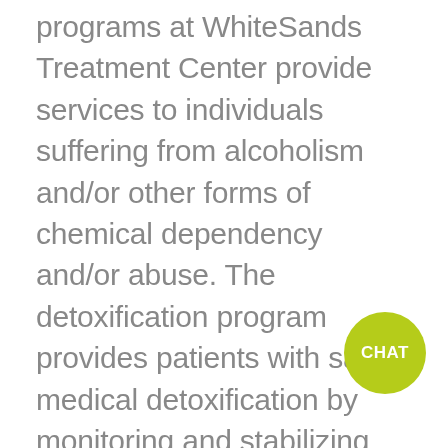programs at WhiteSands Treatment Center provide services to individuals suffering from alcoholism and/or other forms of chemical dependency and/or abuse. The detoxification program provides patients with safe medical detoxification by monitoring and stabilizing withdrawal risks, bio-medical conditions and complications. The rehabilitation program follows the detoxification program and provides patients with therapeutic interventions, focused on developing and maintaining a healthy recovery from alcoholism and other chemical dependencies.